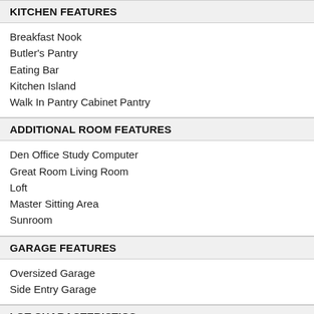KITCHEN FEATURES
Breakfast Nook
Butler's Pantry
Eating Bar
Kitchen Island
Walk In Pantry Cabinet Pantry
ADDITIONAL ROOM FEATURES
Den Office Study Computer
Great Room Living Room
Loft
Master Sitting Area
Sunroom
GARAGE FEATURES
Oversized Garage
Side Entry Garage
LOT CHARACTERISTICS
Suited For Corner Lot
Suited For View Lot